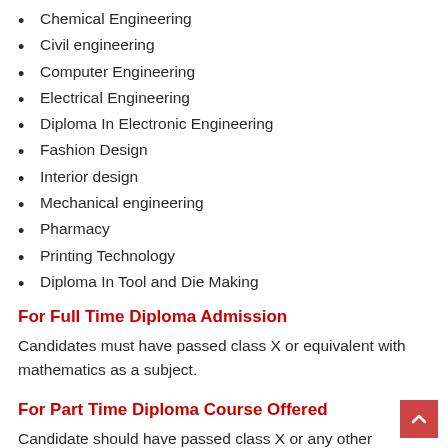Chemical Engineering
Civil engineering
Computer Engineering
Electrical Engineering
Diploma In Electronic Engineering
Fashion Design
Interior design
Mechanical engineering
Pharmacy
Printing Technology
Diploma In Tool and Die Making
For Full Time Diploma Admission
Candidates must have passed class X or equivalent with mathematics as a subject.
For Part Time Diploma Course Offered
Candidate should have passed class X or any other